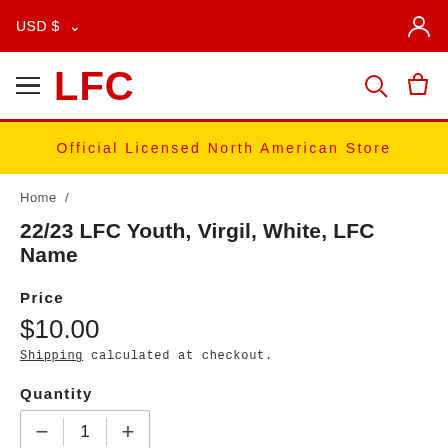USD $ ⌄
LFC
Official Licensed North American Store
Home /
22/23 LFC Youth, Virgil, White, LFC Name
Price
$10.00
Shipping calculated at checkout.
Quantity
1